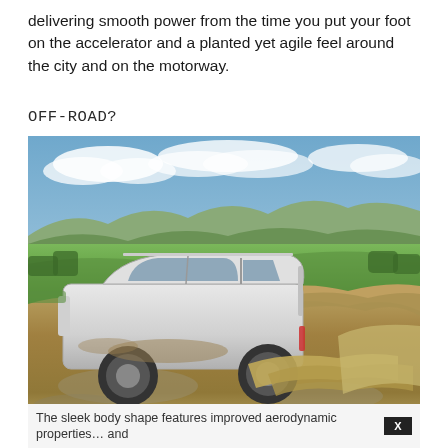delivering smooth power from the time you put your foot on the accelerator and a planted yet agile feel around the city and on the motorway.
OFF-ROAD?
[Figure (photo): A white Land Rover Discovery SUV driving through deep mud on an off-road course, with green fields and hills visible in the background under a partly cloudy sky.]
The sleek body shape features improved aerodynamic properties… and